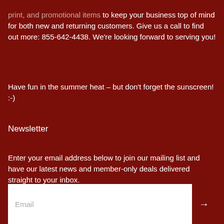print, and promotional items to keep your business top of mind for both new and returning customers. Give us a call to find out more: 855-642-4438. We're looking forward to serving you!
Have fun in the summer heat – but don't forget the sunscreen! :-)
Newsletter
Enter your email address below to join our mailing list and have our latest news and member-only deals delivered straight to your inbox.
[Figure (other): Email input field with arrow button for newsletter sign-up]
Social Links